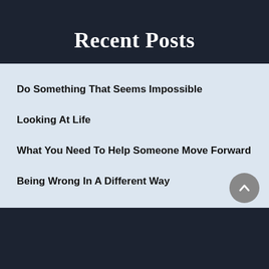Recent Posts
Do Something That Seems Impossible
Looking At Life
What You Need To Help Someone Move Forward
Being Wrong In A Different Way